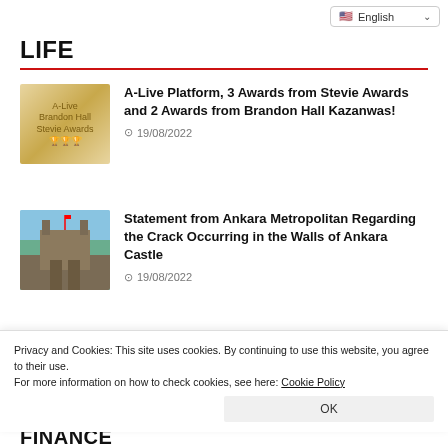English
LIFE
A-Live Platform, 3 Awards from Stevie Awards and 2 Awards from Brandon Hall Kazanwas!
19/08/2022
Statement from Ankara Metropolitan Regarding the Crack Occurring in the Walls of Ankara Castle
19/08/2022
Privacy and Cookies: This site uses cookies. By continuing to use this website, you agree to their use.
For more information on how to check cookies, see here: Cookie Policy
FINANCE